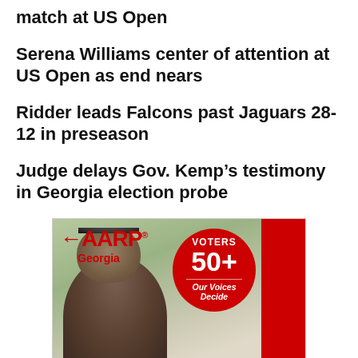match at US Open
Serena Williams center of attention at US Open as end nears
Ridder leads Falcons past Jaguars 28-12 in preseason
Judge delays Gov. Kemp’s testimony in Georgia election probe
[Figure (advertisement): AARP Georgia advertisement featuring a man and a red circle badge reading VOTERS 50+ Our Voices Decide]